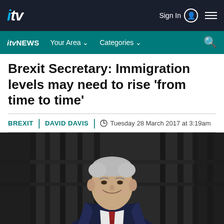ITV — Sign In navigation bar
ITV NEWS — Your Area | Categories | Search
Brexit Secretary: Immigration levels may need to rise 'from time to time'
BREXIT | DAVID DAVIS | Tuesday 28 March 2017 at 3:19am
[Figure (photo): David Davis, Brexit Secretary, smiling in front of iron railings, wearing a dark suit with red tie, grey hair, outdoor setting]